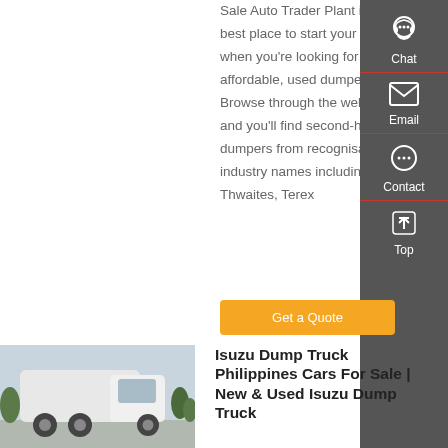Sale Auto Trader Plant is the best place to start your search when you're looking for affordable, used dumpers. Browse through the website now and you'll find second-hand dumpers from recognisable industry names including Thwaites, Terex
[Figure (screenshot): Sidebar UI widget with Chat, Email, Contact, and Top buttons on dark grey background]
Get a Quote
[Figure (photo): White heavy-duty truck/semi-truck (Isuzu dump truck) parked outdoors with trees in background]
Isuzu Dump Truck Philippines Cars For Sale | New & Used Isuzu Dump Truck